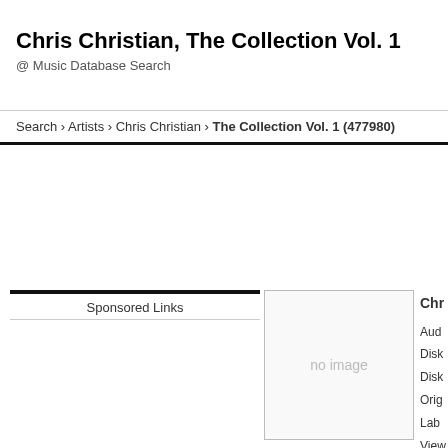Chris Christian, The Collection Vol. 1
@ Music Database Search
Search › Artists › Chris Christian › The Collection Vol. 1 (477980)
Sponsored Links
[Figure (other): No image placeholder box]
Chr
Aud
Disk
Disk
Orig
Lab
View